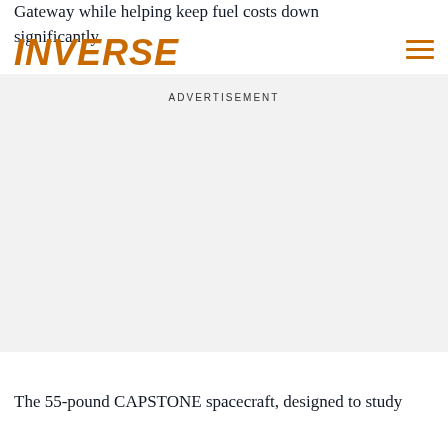Gateway while helping keep fuel costs down significantly.
INVERSE
ADVERTISEMENT
The 55-pound CAPSTONE spacecraft, designed to study